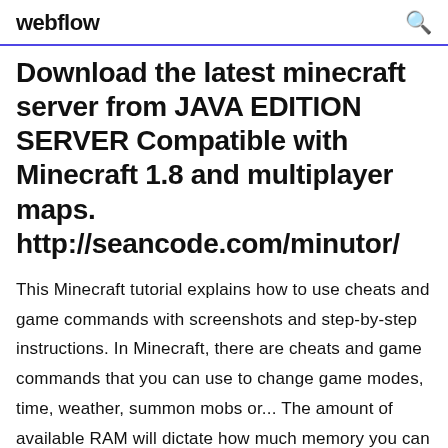webflow
Download the latest minecraft server from JAVA EDITION SERVER Compatible with Minecraft 1.8 and multiplayer maps. http://seancode.com/minutor/
This Minecraft tutorial explains how to use cheats and game commands with screenshots and step-by-step instructions. In Minecraft, there are cheats and game commands that you can use to change game modes, time, weather, summon mobs or... The amount of available RAM will dictate how much memory you can allocate to Minecraft MinecraftWorldMap.com